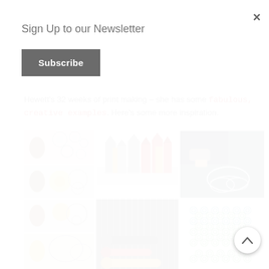Sign Up to our Newsletter
Subscribe
Hewett's 32 weeks of print making – she has some fabulous, creative examples. Here's some more inspiration.
[Figure (photo): A 3x4 grid of printmaking photos: column 1 shows carved rubber stamps and printed patterns in yellow/grey/brown; column 2 shows Amsterdam-style house block prints in red/yellow/grey and printing rollers on a cutting mat; column 3 shows hands pressing a stamp on dark fabric with a floral pattern, and a green/blue repeated pattern print on white paper.]